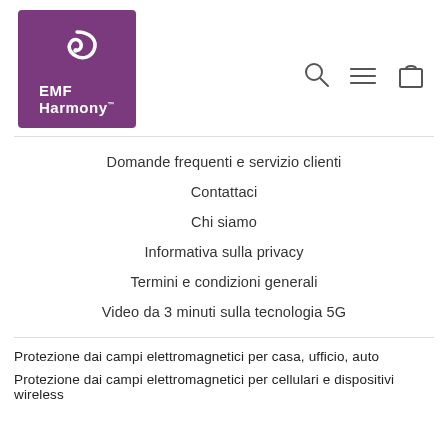[Figure (logo): EMF Harmony logo: purple square with white spiral/swirl icon and 'EMF Harmony' text in white]
[Figure (other): Navigation icons: search (magnifier), menu (hamburger lines), cart (bag)]
Domande frequenti e servizio clienti
Contattaci
Chi siamo
Informativa sulla privacy
Termini e condizioni generali
Video da 3 minuti sulla tecnologia 5G
Protezione dai campi elettromagnetici per casa, ufficio, auto
Protezione dai campi elettromagnetici per cellulari e dispositivi wireless